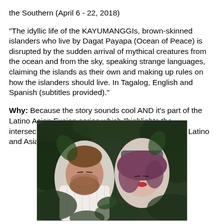the Southern (April 6 - 22, 2018)
"The idyllic life of the KAYUMANGGIs, brown-skinned islanders who live by Dagat Payapa (Ocean of Peace) is disrupted by the sudden arrival of mythical creatures from the ocean and from the sky, speaking strange languages, claiming the islands as their own and making up rules on how the islanders should live. In Tagalog, English and Spanish (subtitles provided)."
Why: Because the story sounds cool AND it's part of the Latino Asian Fusion series which "highlights the intersections, relationships, and influences between Latino and Asian cultures."
[Figure (photo): Two people lying in grass/foliage looking up. A bearded man in a white shirt on the left and a woman with reddish-purple hair on the right, both surrounded by green leaves.]